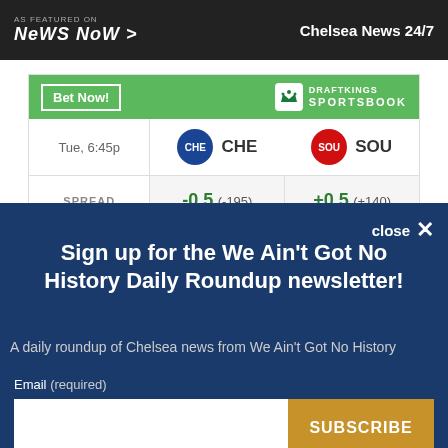AS FEATURED ON News Now > | Chelsea News 24/7
[Figure (other): DraftKings Sportsbook bet widget showing CHE vs SOU, Tue 6:45p, SPREAD -0.5 (-195) / +0.5 (+140)]
Sign up for the We Ain't Got No History Daily Roundup newsletter!
A daily roundup of Chelsea news from We Ain't Got No History
Email (required)
SUBSCRIBE
By submitting your email, you agree to our Terms and Privacy Notice. You can opt out at any time. This site is protected by reCAPTCHA and the Google Privacy Policy and Terms of Service apply.